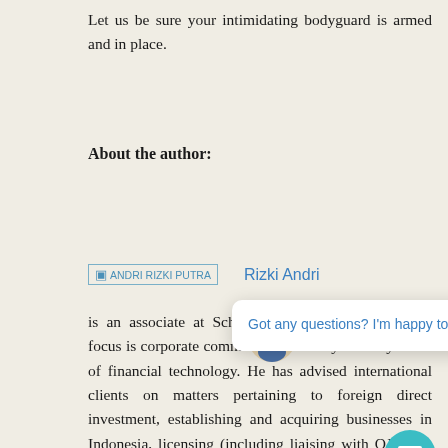Let us be sure your intimidating bodyguard is armed and in place.
About the author:
[Figure (photo): Small portrait photo placeholder for ANDRI RIZKI PUTRA with author name link 'Rizki Andri' in blue]
is an associate at Schinder Law Firm. His practice focus is corporate commercial, with key industry focus of financial technology. He has advised international clients on matters pertaining to foreign direct investment, establishing and acquiring businesses in Indonesia, licensing (including liaising with OJK, the Indonesian Financial Services Authority), as well as registering brand trademarks.
[Figure (screenshot): Chat widget overlay showing avatar, close button (×), and text 'Got any questions? I'm happy to help.' with teal circular chat button at bottom right]